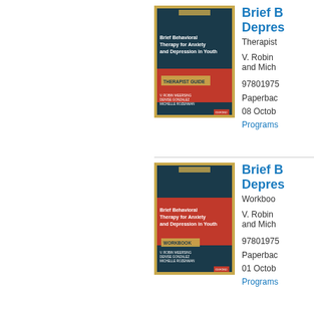[Figure (illustration): Book cover of Brief Behavioral Therapy for Anxiety and Depression in Youth - Therapist Guide, dark teal and red cover with gold border, Oxford series]
Brief Behavioral Therapy for Anxiety and Depression in Youth
Therapist Guide
V. Robin Weersing, Denise Gonzalez, and Michelle Rozenman
9780197538517
Paperback
08 October 2020
Programs That Work
[Figure (illustration): Book cover of Brief Behavioral Therapy for Anxiety and Depression in Youth - Workbook, dark teal and red cover with gold border, Oxford series]
Brief Behavioral Therapy for Anxiety and Depression in Youth
Workbook
V. Robin Weersing, Denise Gonzalez, and Michelle Rozenman
9780197538524
Paperback
01 October 2020
Programs That Work